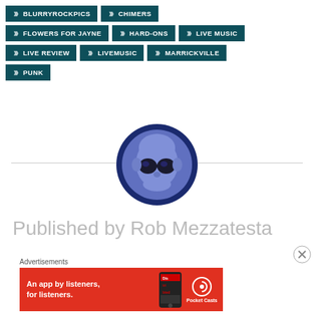BLURRYROCKPICS
CHIMERS
FLOWERS FOR JAYNE
HARD-ONS
LIVE MUSIC
LIVE REVIEW
LIVEMUSIC
MARRICKVILLE
PUNK
[Figure (illustration): Circular avatar image of a baby wearing round glasses, rendered in blue/purple tones, inside a dark blue circle border]
Published by Rob Mezzatesta
Advertisements
[Figure (other): Pocket Casts advertisement banner: red background, text 'An app by listeners, for listeners.' with phone graphic and Pocket Casts logo]